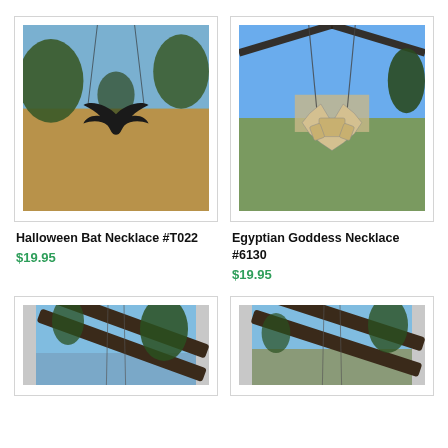[Figure (photo): Halloween bat necklace hanging outdoors against dry grass and blue sky background]
Halloween Bat Necklace #T022
$19.95
[Figure (photo): Egyptian Goddess necklace with geometric fan-shaped pendant hanging outdoors against blue sky]
Egyptian Goddess Necklace #6130
$19.95
[Figure (photo): Necklace hanging from metal bars/trellis against blue sky with trees]
[Figure (photo): Necklace hanging from metal bars/trellis against blue sky with trees]